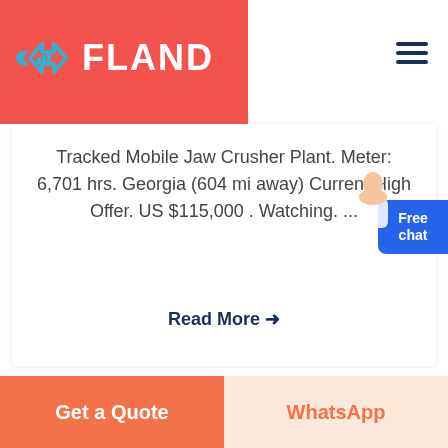[Figure (logo): Fland logo with diamond/arrow icon on red background]
Tracked Mobile Jaw Crusher Plant. Meter: 6,701 hrs. Georgia (604 mi away) Current High Offer. US $115,000 . Watching. ...
Read More →
Free chat
Get a Quote
WhatsApp